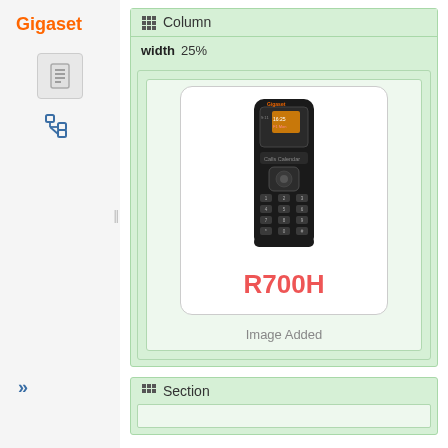[Figure (screenshot): Sidebar with Gigaset logo, document icon, tree icon, and navigation arrows]
Column
width   25%
[Figure (photo): Gigaset R700H cordless phone handset shown vertically, black body with keypad and display screen]
R700H
Image Added
Section